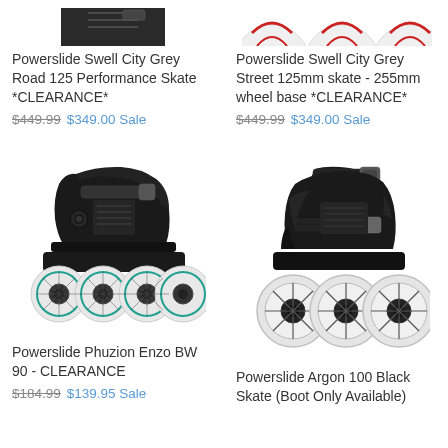[Figure (photo): Powerslide Swell City Grey Road 125 Performance Skate - partial image cropped at top]
Powerslide Swell City Grey Road 125 Performance Skate *CLEARANCE*
$449.99  $349.00 Sale
[Figure (photo): Powerslide Swell City Grey Street 125mm skate wheels - partial image cropped at top showing red/white wheels]
Powerslide Swell City Grey Street 125mm skate - 255mm wheel base *CLEARANCE*
$449.99  $349.00 Sale
[Figure (photo): Powerslide Phuzion Enzo BW 90 inline skate - black boot with teal/clear wheels]
Powerslide Phuzion Enzo BW 90 - CLEARANCE
$184.99  $139.95 Sale
[Figure (photo): Powerslide Argon 100 Black inline skate - black boot with large clear wheels]
Powerslide Argon 100 Black Skate (Boot Only Available)